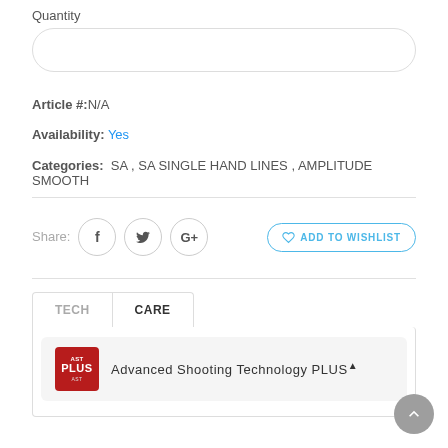Quantity
Article #:N/A
Availability: Yes
Categories: SA , SA SINGLE HAND LINES , AMPLITUDE SMOOTH
Share:
ADD TO WISHLIST
TECH
CARE
Advanced Shooting Technology PLUS